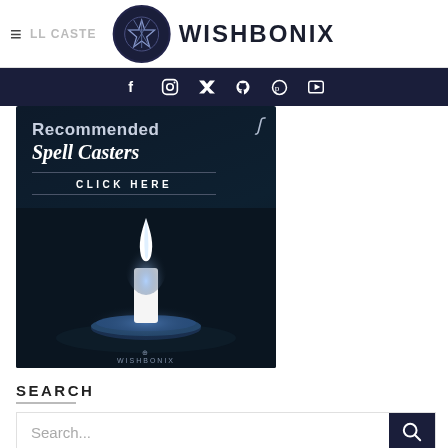≡ WISHBONIX
[Figure (infographic): Social media icons bar: Facebook (f), Instagram, Twitter, Pinterest, YouTube on dark navy background]
[Figure (infographic): Wishbonix Recommended Spell Casters banner advertisement with glowing candle on dark background, text: Recommended Spell Casters CLICK HERE, Wishbonix branding at bottom]
SEARCH
Search...